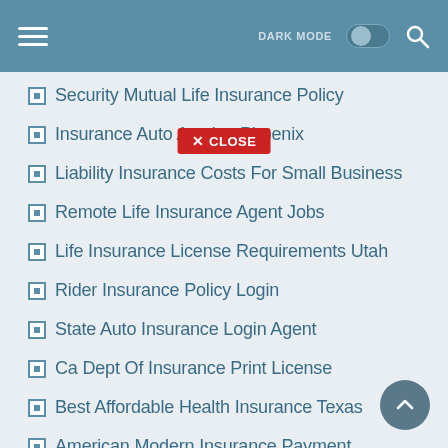DARK MODE [toggle] [search]
Security Mutual Life Insurance Policy
Insurance Auto Auction Phoenix
Liability Insurance Costs For Small Business
Remote Life Insurance Agent Jobs
Life Insurance License Requirements Utah
Rider Insurance Policy Login
State Auto Insurance Login Agent
Ca Dept Of Insurance Print License
Best Affordable Health Insurance Texas
American Modern Insurance Payment
Independent Insurance Agents Of Illinois
Allied Auto Insurance Near Me
Health Maintenance Group Member